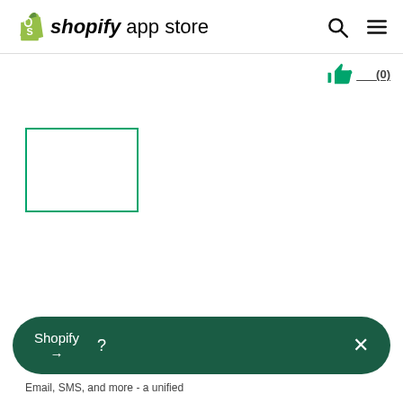[Figure (logo): Shopify App Store logo with green shopping bag icon, 'shopify' in bold italic and 'app store' in regular text]
[Figure (other): Green thumbs up icon with rating count (0) underlined]
[Figure (other): Empty app icon placeholder with green border rectangle]
Postscript SMS Marketing （ ）
[Figure (other): Dark green rounded banner with 'Shopify' text, arrow, question mark, and X close button]
Email, SMS, and more - a unified